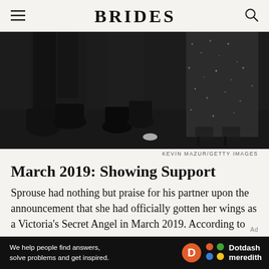BRIDES
[Figure (photo): Close-up photo of two people's lower bodies/legs. Left figure in dark trousers and black dress shoes. Right figure in a sparkly/sequined dark outfit with black heels. Dark floor background. Photo credit: KEVIN MAZUR/GETTY IMAGES]
KEVIN MAZUR/GETTY IMAGES
March 2019: Showing Support
Sprouse had nothing but praise for his partner upon the announcement that she had officially gotten her wings as a Victoria's Secret Angel in March 2019. According to